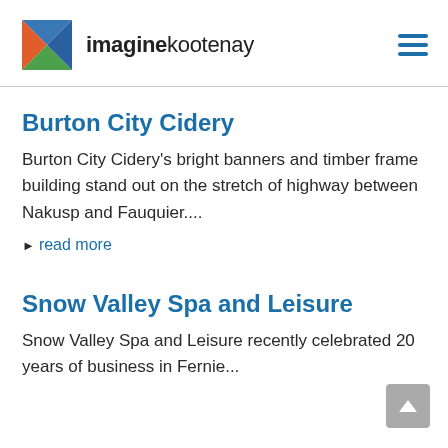imaginekootenay
Burton City Cidery
Burton City Cidery's bright banners and timber frame building stand out on the stretch of highway between Nakusp and Fauquier....
▶ read more
Snow Valley Spa and Leisure
Snow Valley Spa and Leisure recently celebrated 20 years of business in Fernie...